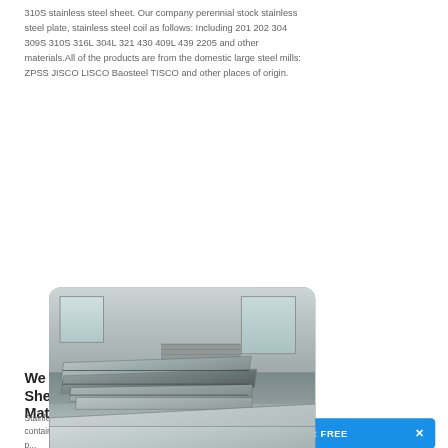310S stainless steel sheet. Our company perennial stock stainless steel plate, stainless steel coil as follows: Including 201 202 304 309S 310S 316L 304L 321 430 409L 439 2205 and other materials.All of the products are from the domestic large steel mills: ZPSS JISCO LISCO Baosteel TISCO and other places of origin.
[Figure (photo): Industrial warehouse interior showing multiple large stainless steel sheets stacked on a floor, with windows and metal shutters visible in the background. A speech bubble overlay reads 'Questions? Click here to contact us.']
We Supply Stainless Steel Sheet, Coil & Plate Materials
Stainless steels are a family of iron based alloys containing a minimum of 10.5% chromium (Cr). The p...